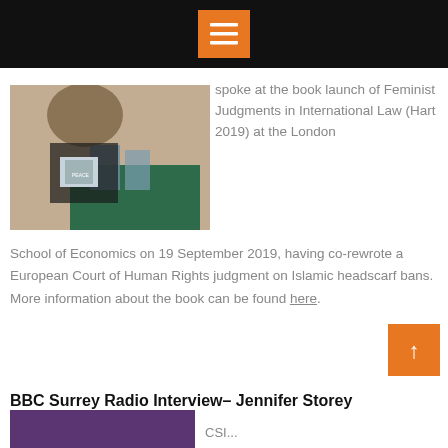[Figure (photo): Person holding a book at a book launch event, standing near a green-draped table with books displayed]
spoke at the book launch of Feminist Judgments in International Law (Hart 2019) at the London School of Economics on 19 September 2019, having co-rewrote a European Court of Human Rights judgment on Islamic headscarf bans. More information about the book can be found here.
BBC Surrey Radio Interview– Jennifer Storey
[Figure (photo): Purple banner image at the bottom of the page]